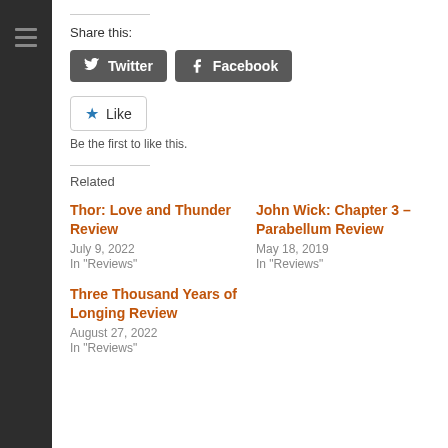Share this:
[Figure (other): Twitter and Facebook share buttons]
[Figure (other): Like button with star icon]
Be the first to like this.
Related
Thor: Love and Thunder Review
July 9, 2022
In "Reviews"
John Wick: Chapter 3 – Parabellum Review
May 18, 2019
In "Reviews"
Three Thousand Years of Longing Review
August 27, 2022
In "Reviews"